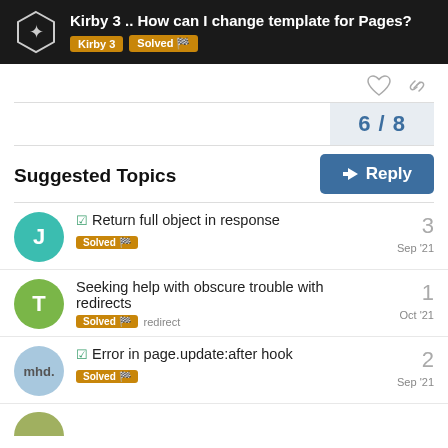Kirby 3 .. How can I change template for Pages? | Kirby 3 | Solved
6 / 8
Reply
Suggested Topics
✓ Return full object in response | Solved | 3 | Sep '21
Seeking help with obscure trouble with redirects | Solved | redirect | 1 | Oct '21
✓ Error in page.update:after hook | Solved | 2 | Sep '21